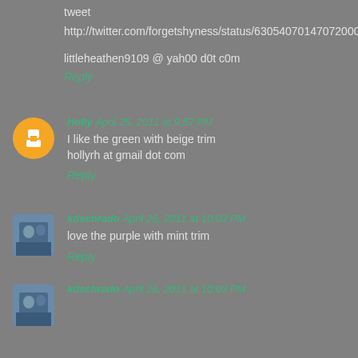tweet http://twitter.com/forgetshyness/status/63054070147072000
littleheathen9109 @ yah00 d0t c0m
Reply
Holly April 25, 2011 at 9:57 PM
I like the green with beige trim
hollyrh at gmail dot com
Reply
kdschrado April 26, 2011 at 10:03 PM
love the purple with mint trim
Reply
kdschrado April 26, 2011 at 10:03 PM